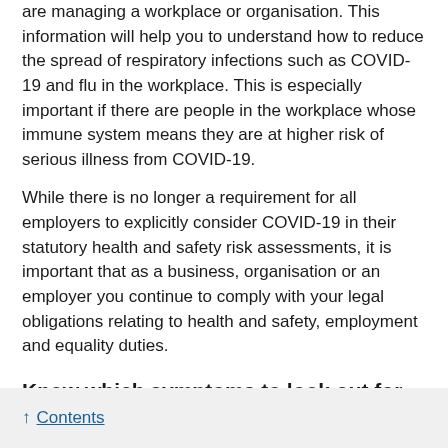are managing a workplace or organisation. This information will help you to understand how to reduce the spread of respiratory infections such as COVID-19 and flu in the workplace. This is especially important if there are people in the workplace whose immune system means they are at higher risk of serious illness from COVID-19.
While there is no longer a requirement for all employers to explicitly consider COVID-19 in their statutory health and safety risk assessments, it is important that as a business, organisation or an employer you continue to comply with your legal obligations relating to health and safety, employment and equality duties.
Know which symptoms to look out for
Respiratory infections can spread easily between people. It is important for staff and employers to be aware of symptoms so they can take actions to reduce the risk of spreading the infection to other people.
↑ Contents